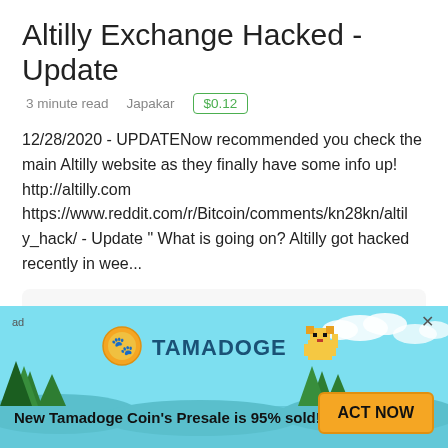Altilly Exchange Hacked - Update
3 minute read   Japakar   $0.12
12/28/2020 - UPDATENow recommended you check the main Altilly website as they finally have some info up! http://altilly.com https://www.reddit.com/r/Bitcoin/comments/kn28kn/altily_hack/ - Update " What is going on? Altilly got hacked recently in wee...
[Figure (screenshot): Publish0x embedded widget with blue border]
[Figure (infographic): Tamadoge advertisement banner with cyan background, coin logo, dog mascot, trees, clouds. Text: New Tamadoge Coin's Presale is 95% sold! ACT NOW button.]